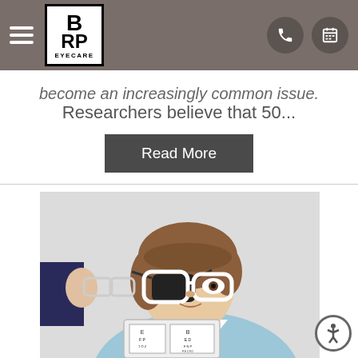BRP EYECARE — navigation header with logo, hamburger menu, phone icon, and calendar icon
become an increasingly common issue.
Researchers believe that 50...
Read More
[Figure (photo): A young girl wearing an eye patch over one eye and large white-framed glasses, sitting at a table during an eye exam. A clinician's hand is visible offering additional glasses frames. A vision chart tablet is visible on the table in front of her.]